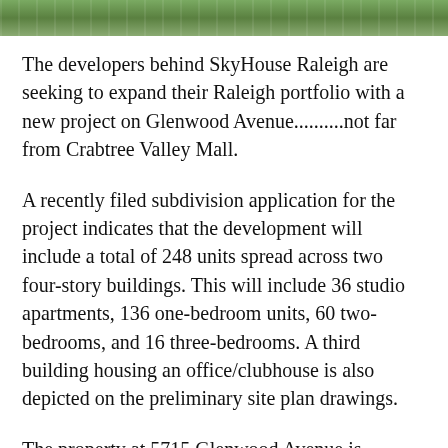[Figure (photo): Aerial or top-view photo strip of trees/greenery, partially visible at top of page]
The developers behind SkyHouse Raleigh are seeking to expand their Raleigh portfolio with a new project on Glenwood Avenue..........not far from Crabtree Valley Mall.
A recently filed subdivision application for the project indicates that the development will include a total of 248 units spread across two four-story buildings. This will include 36 studio apartments, 136 one-bedroom units, 60 two-bedrooms, and 16 three-bedrooms. A third building housing an office/clubhouse is also depicted on the preliminary site plan drawings.
The property at 5715 Glenwood Avenue is currently home to a four-story 1970s-era office building that serves as a corporate office for AT&T. The subdivision